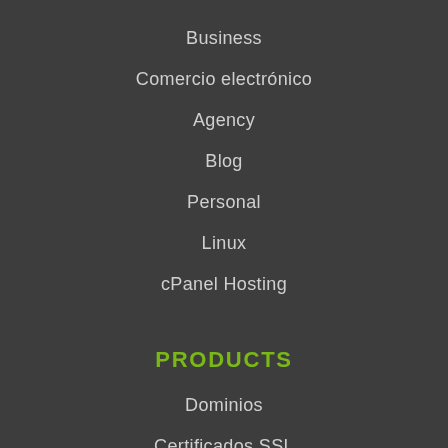Business
Comercio electrónico
Agency
Blog
Personal
Linux
cPanel Hosting
PRODUCTS
Dominios
Certificados SSL
SiteBuilder
Email